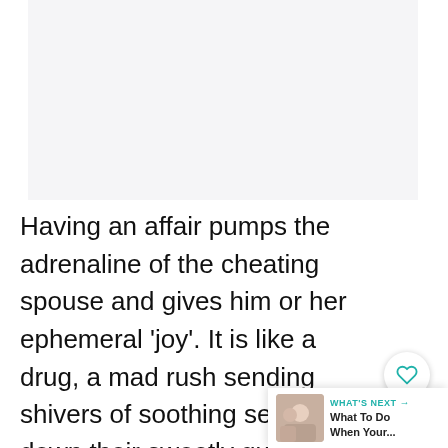[Figure (photo): Light gray rectangular placeholder area at top of page, representing an image space]
Having an affair pumps the adrenaline of the cheating spouse and gives him or her ephemeral 'joy'. It is like a drug, a mad rush sending shivers of soothing sensation down their sweetly guilty spi… You know what it's like when yo… love with someone or your spouse? It's